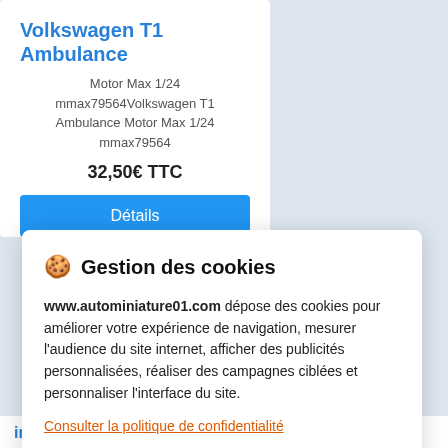Volkswagen T1 Ambulance
Motor Max 1/24
mmax79564Volkswagen T1 Ambulance Motor Max 1/24
mmax79564
32,50€ TTC
Détails
🍪 Gestion des cookies
www.autominiature01.com dépose des cookies pour améliorer votre expérience de navigation, mesurer l'audience du site internet, afficher des publicités personnalisées, réaliser des campagnes ciblées et personnaliser l'interface du site.
Consulter la politique de confidentialité
Refuser
Paramétrer
Accepter
inscription à la Newsletter